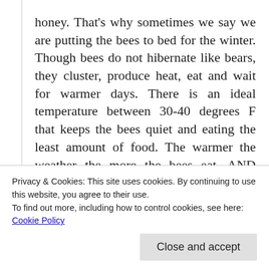honey. That's why sometimes we say we are putting the bees to bed for the winter. Though bees do not hibernate like bears, they cluster, produce heat, eat and wait for warmer days. There is an ideal temperature between 30-40 degrees F that keeps the bees quiet and eating the least amount of food. The warmer the weather the more the bees eat. AND oddly enough, the colder the weather (below 30 degrees F) the more the bees eat to generate heat. Does an unseasonably warm
Privacy & Cookies: This site uses cookies. By continuing to use this website, you agree to their use.
To find out more, including how to control cookies, see here: Cookie Policy